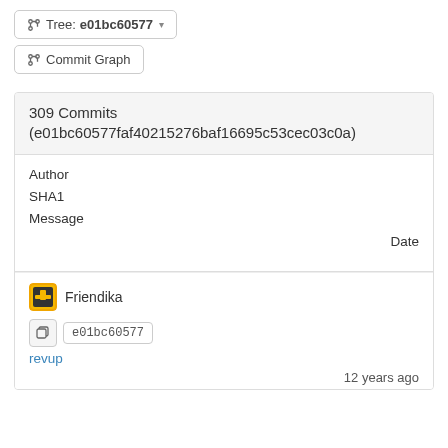Tree: e01bc60577 ▾
Commit Graph
309 Commits
(e01bc60577faf40215276baf16695c53cec03c0a)
Author
SHA1
Message
Date
Friendika
e01bc60577
revup
12 years ago